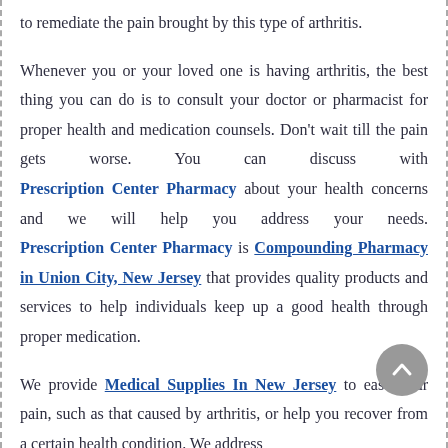to remediate the pain brought by this type of arthritis.
Whenever you or your loved one is having arthritis, the best thing you can do is to consult your doctor or pharmacist for proper health and medication counsels. Don't wait till the pain gets worse. You can discuss with Prescription Center Pharmacy about your health concerns and we will help you address your needs. Prescription Center Pharmacy is Compounding Pharmacy in Union City, New Jersey that provides quality products and services to help individuals keep up a good health through proper medication.
We provide Medical Supplies In New Jersey to ease your pain, such as that caused by arthritis, or help you recover from a certain health condition. We address